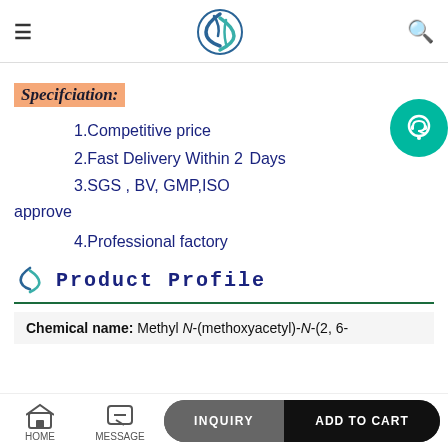Navigation header with hamburger menu, logo, and search icon
Specifciation:
1.Competitive price
2.Fast Delivery Within 2 Days
3.SGS , BV, GMP,ISO approve
4.Professional factory
Product Profile
Chemical name: Methyl N-(methoxyacetyl)-N-(2, 6-
HOME | MESSAGE | INQUIRY | ADD TO CART